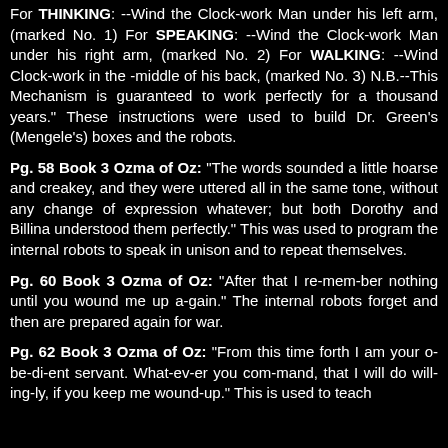For THINKING: --Wind the Clock-work Man under his left arm, (marked No. 1) For SPEAKING: --Wind the Clock-work Man under his right arm, (marked No. 2) For WALKING: --Wind Clock-work in the -middle of his back, (marked No. 3) N.B.--This Mechanism is guaranteed to work perfectly for a thousand years." These instructions were used to build Dr. Green's (Mengele's) boxes and the robots.
Pg. 58 Book 3 Ozma of Oz: "The words sounded a little hoarse and creakey, and they were uttered all in the same tone, without any change of expression whatever; but both Dorothy and Billina understood them perfectly." This was used to program the internal robots to speak in unison and to repeat themselves.
Pg. 60 Book 3 Ozma of Oz: "After that I re-mem-ber nothing until you wound me up a-gain." The internal robots forget and then are prepared again for war.
Pg. 62 Book 3 Ozma of Oz: "From this time forth I am your o-be-di-ent servant. What-ev-er you com-mand, that I will do will-ing-ly, if you keep me wound-up." This is used to teach